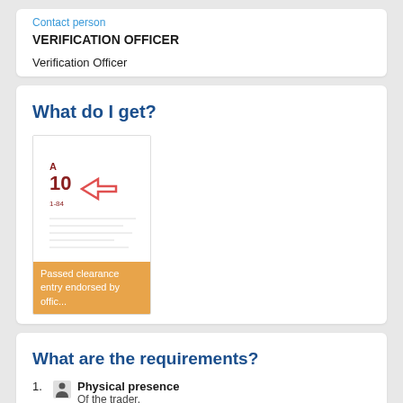Contact person
VERIFICATION OFFICER
Verification Officer
What do I get?
[Figure (illustration): Document thumbnail showing a passed clearance entry with a red arrow stamp, and an orange label reading 'Passed clearance entry endorsed by officer']
What are the requirements?
Physical presence – Of the trader.
Documents (partially visible)